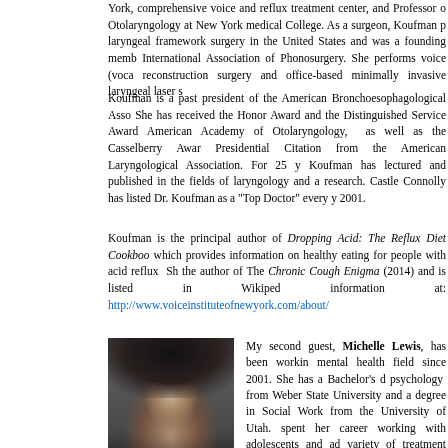York, comprehensive voice and reflux treatment center, and Professor of Otolaryngology at New York medical College. As a surgeon, Koufman performed laryngeal framework surgery in the United States and was a founding member of the International Association of Phonosurgery. She performs voice (vocal fold) reconstruction surgery and office-based minimally invasive laryngeal laser surgery.
Koufman is a past president of the American Bronchoesophagological Association. She has received the Honor Award and the Distinguished Service Award from the American Academy of Otolaryngology, as well as the Casselberry Award and a Presidential Citation from the American Laryngological Association. For 25 years, Koufman has lectured and published in the fields of laryngology and acid reflux research. Castle Connolly has listed Dr. Koufman as a "Top Doctor" every year since 2001.
Koufman is the principal author of Dropping Acid: The Reflux Diet Cookbook & Cure, which provides information on healthy eating for people with acid reflux. She is also the author of The Chronic Cough Enigma (2014) and is listed in Wikipedia. More information at: http://www.voiceinstituteofnewyork.com/about/
[Figure (photo): Black and white portrait photo of Michelle Lewis, a woman with long dark hair posing with hand near face, smiling]
My second guest, Michelle Lewis, has been working in the mental health field since 2001. She has a Bachelor's degree in psychology from Weber State University and a Master's degree in Social Work from the University of Utah. She has spent her career working with adolescents and adults in a variety of treatment settings. Michelle is skilled at treating a variety of mental health issues, but specializes in eliminating barriers to weight loss, emotional eating, binge eating, food addiction, codependency, self-esteem, and